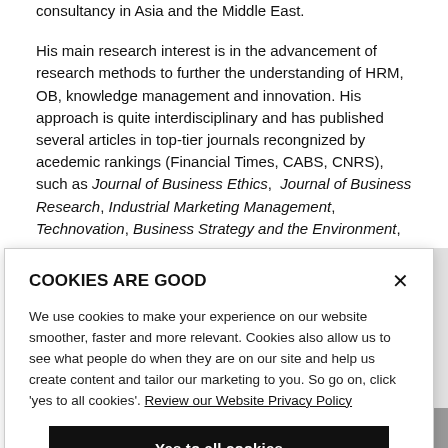consultancy in Asia and the Middle East.
His main research interest is in the advancement of research methods to further the understanding of HRM, OB, knowledge management and innovation. His approach is quite interdisciplinary and has published several articles in top-tier journals recongnized by acedemic rankings (Financial Times, CABS, CNRS), such as Journal of Business Ethics, Journal of Business Research, Industrial Marketing Management, Technovation, Business Strategy and the Environment,
[Figure (screenshot): Cookie consent banner overlay with title 'COOKIES ARE GOOD', body text about cookie usage, a link to 'Review our Website Privacy Policy', and a 'Yes to all cookies' button.]